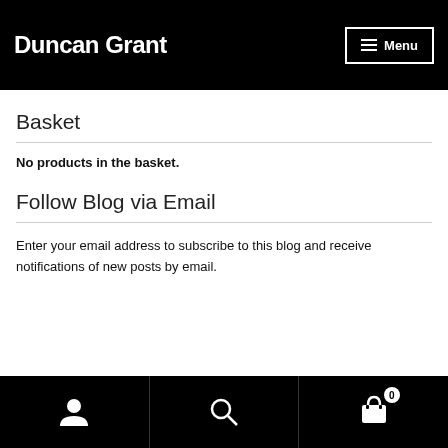Duncan Grant
Basket
No products in the basket.
Follow Blog via Email
Enter your email address to subscribe to this blog and receive notifications of new posts by email.
User | Search | Cart 0